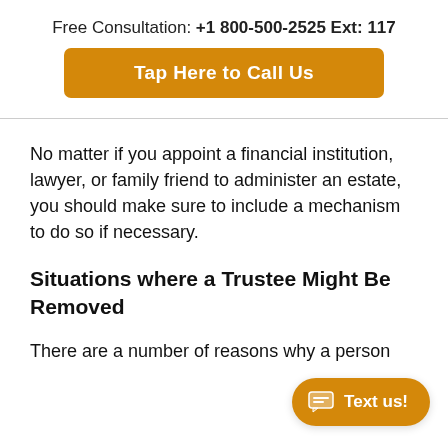Free Consultation: +1 800-500-2525 Ext: 117
[Figure (other): Orange button with white bold text: Tap Here to Call Us]
No matter if you appoint a financial institution, lawyer, or family friend to administer an estate, you should make sure to include a mechanism to do so if necessary.
Situations where a Trustee Might Be Removed
There are a number of reasons why a person
[Figure (other): Orange rounded pill button with chat icon and text: Text us!]